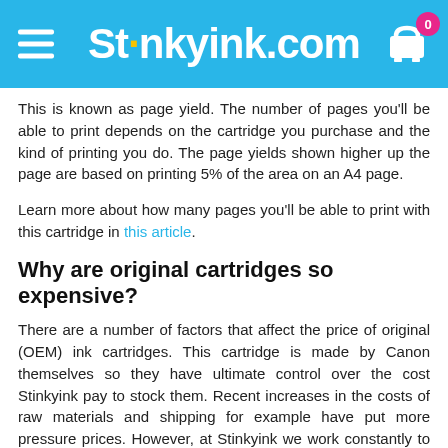Stinkyink.com
This is known as page yield. The number of pages you'll be able to print depends on the cartridge you purchase and the kind of printing you do. The page yields shown higher up the page are based on printing 5% of the area on an A4 page.
Learn more about how many pages you'll be able to print with this cartridge in this article.
Why are original cartridges so expensive?
There are a number of factors that affect the price of original (OEM) ink cartridges. This cartridge is made by Canon themselves so they have ultimate control over the cost Stinkyink pay to stock them. Recent increases in the costs of raw materials and shipping for example have put more pressure prices. However, at Stinkyink we work constantly to keep prices low and offer a price-match guarantee on all original ink products.